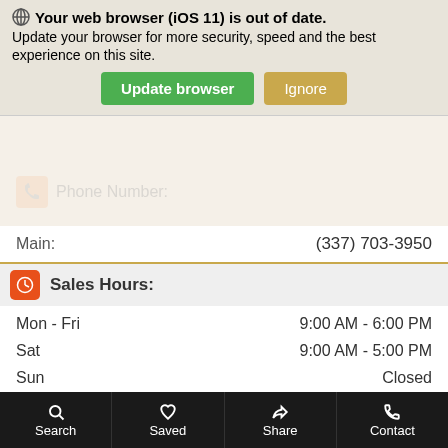[Figure (screenshot): Browser update notification banner: 'Your web browser (iOS 11) is out of date. Update your browser for more security, speed and the best experience on this site.' with green 'Update browser' button and tan 'Ignore' button.]
Phone Number:
Main: (337) 703-3950
Sales Hours:
Mon - Fri   9:00 AM - 6:00 PM
Sat   9:00 AM - 5:00 PM
Sun   Closed
Service Hours:
Mon - Fri   7:30 AM - 6:00 PM
Sat   8:00 AM - 3:00 PM
Sun   Closed
Parts Hours:
Mon - Fri   7:30 AM - 6:00 PM
Sat   8:00 AM - 3:00 PM
Sun   Closed
Search   Saved   Share   Contact